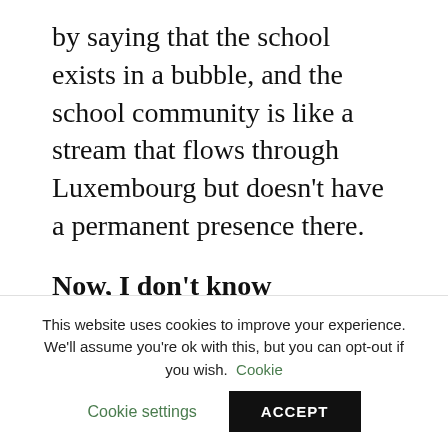by saying that the school exists in a bubble, and the school community is like a stream that flows through Luxembourg but doesn't have a permanent presence there.
Now, I don't know Luxembourg and I was not lucky enough to attend a European School myself. But I have travelled and lived in different countries, and I currently teach in a European School (in Heraklion, Crete). And like Vincent I feel confused about my national identity. European and...
This website uses cookies to improve your experience. We'll assume you're ok with this, but you can opt-out if you wish. Cookie settings ACCEPT